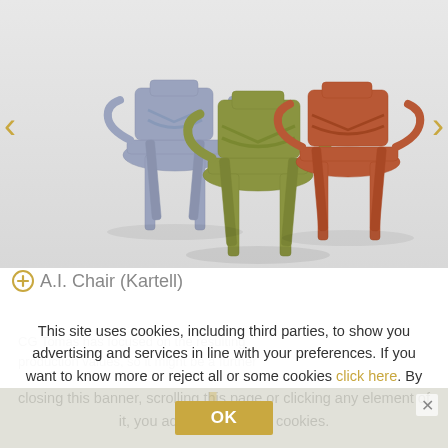[Figure (photo): Three designer chairs in different colors (blue/grey, olive green, orange/rust) displayed on a white/grey background. The chairs have an organic, branching structural design (A.I. Chair by Kartell). Left and right navigation arrows in gold/mustard color appear on either side.]
⊕ A.I. Chair (Kartell)
This site uses cookies, including third parties, to show you advertising and services in line with your preferences. If you want to know more or reject all or some cookies click here. By closing this banner, scrolling this page or clicking any element of it, you accept the use of cookies.
OK